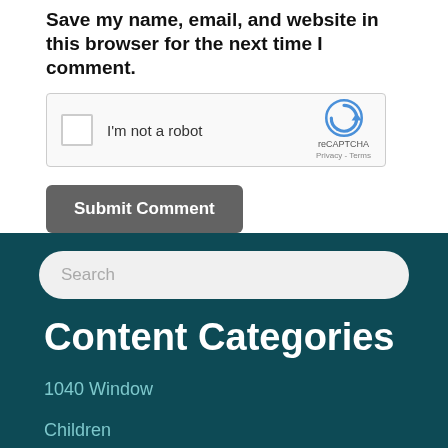Save my name, email, and website in this browser for the next time I comment.
[Figure (other): reCAPTCHA widget with checkbox labeled I'm not a robot and reCAPTCHA logo with Privacy and Terms links]
Submit Comment
Search
Content Categories
1040 Window
Children
Community Health
COVID-19
Dental